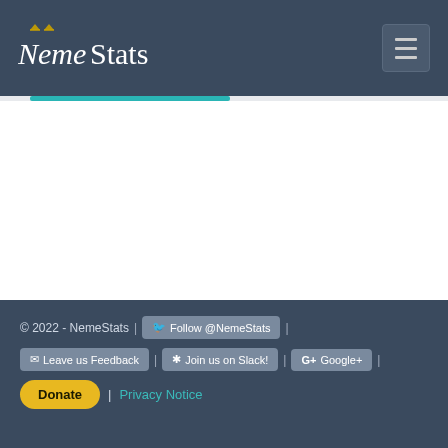NemeStats
© 2022 - NemeStats | Follow @NemeStats | Leave us Feedback | Join us on Slack! | Google+ | Donate | Privacy Notice